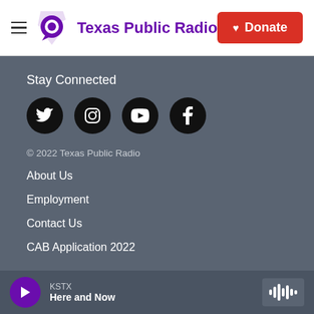Texas Public Radio — Donate
Stay Connected
[Figure (illustration): Four social media icon circles: Twitter, Instagram, YouTube, Facebook]
© 2022 Texas Public Radio
About Us
Employment
Contact Us
CAB Application 2022
KSTX
Here and Now